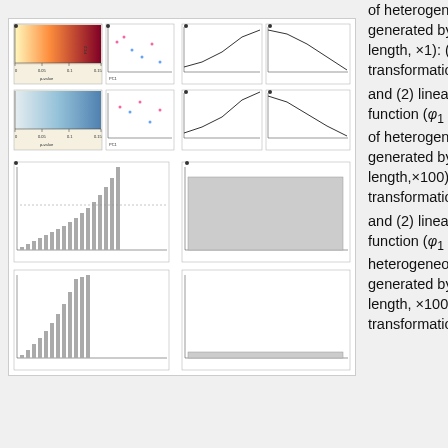[Figure (illustration): Multi-panel figure showing classification and clustering results for heterogeneous sequence-sets. Six rows of panels arranged in a grid, showing heatmaps, scatter plots, and bar charts for different transformation functions and sequence lengths.]
of heterogeneous sequence-sets generated by simulation (sequence length, ×1): (1) non-linear transformation function (φ₂ (X)), and (2) linear transformation function (φ₁ (X)). (C) Classification of heterogeneous sequence-sets generated by simulation (sequence length,×100): (1) nonlinear transformation function (φ₂ (X)), and (2) linear transformation function (φ₁ (X)). (D) Clustering of heterogeneous sequence-sets generated by simulation (sequence length, ×100): (1) non-linear transformation function